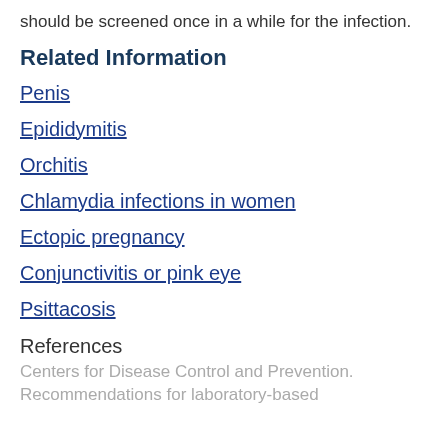should be screened once in a while for the infection.
Related Information
Penis
Epididymitis
Orchitis
Chlamydia infections in women
Ectopic pregnancy
Conjunctivitis or pink eye
Psittacosis
References
Centers for Disease Control and Prevention. Recommendations for laboratory-based